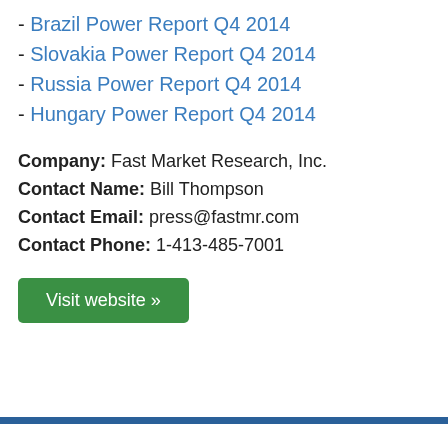- Brazil Power Report Q4 2014
- Slovakia Power Report Q4 2014
- Russia Power Report Q4 2014
- Hungary Power Report Q4 2014
Company: Fast Market Research, Inc.
Contact Name: Bill Thompson
Contact Email: press@fastmr.com
Contact Phone: 1-413-485-7001
Visit website »